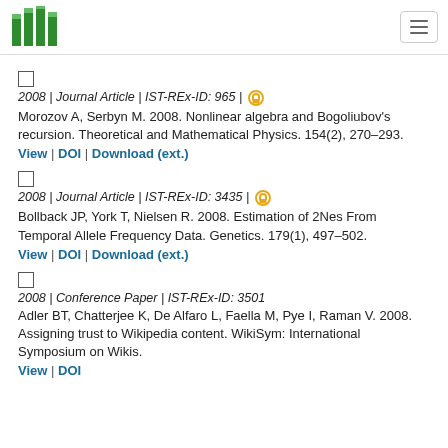ISTA logo and navigation
2008 | Journal Article | IST-REx-ID: 965 | [open access]
Morozov A, Serbyn M. 2008. Nonlinear algebra and Bogoliubov's recursion. Theoretical and Mathematical Physics. 154(2), 270–293.
View | DOI | Download (ext.)
2008 | Journal Article | IST-REx-ID: 3435 | [open access]
Bollback JP, York T, Nielsen R. 2008. Estimation of 2Nes From Temporal Allele Frequency Data. Genetics. 179(1), 497–502.
View | DOI | Download (ext.)
2008 | Conference Paper | IST-REx-ID: 3501
Adler BT, Chatterjee K, De Alfaro L, Faella M, Pye I, Raman V. 2008. Assigning trust to Wikipedia content. WikiSym: International Symposium on Wikis.
View | DOI